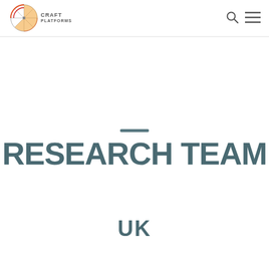Craft Platforms — navigation header with logo, search icon, and menu icon
RESEARCH TEAM
UK